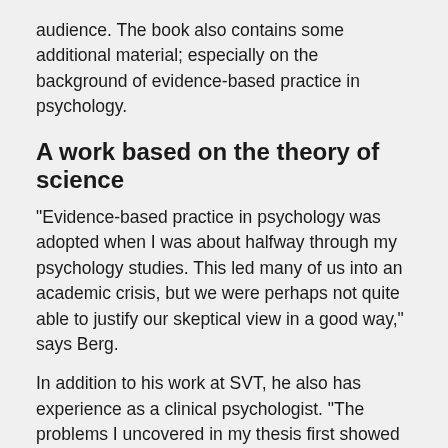audience. The book also contains some additional material; especially on the background of evidence-based practice in psychology.
A work based on the theory of science
"Evidence-based practice in psychology was adopted when I was about halfway through my psychology studies. This led many of us into an academic crisis, but we were perhaps not quite able to justify our skeptical view in a good way," says Berg.
In addition to his work at SVT, he also has experience as a clinical psychologist. "The problems I uncovered in my thesis first showed up in my academic work," according to Berg, "but parts of the motivation and intuitions probably come from my experiences as a clinician."